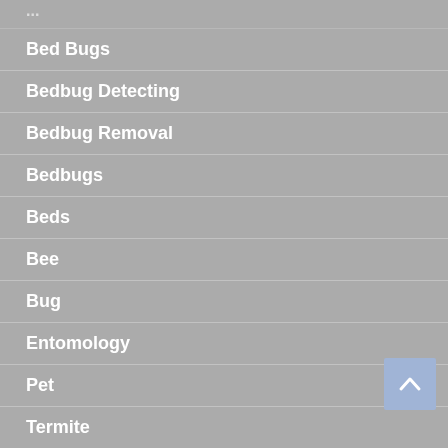...
Bed Bugs
Bedbug Detecting
Bedbug Removal
Bedbugs
Beds
Bee
Bug
Entomology
Pet
Termite
Uncategorized